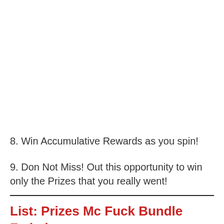8. Win Accumulative Rewards as you spin!
9. Don Not Miss! Out this opportunity to win only the Prizes that you really went!
List: Prizes Mc Fuck Bundle Faded